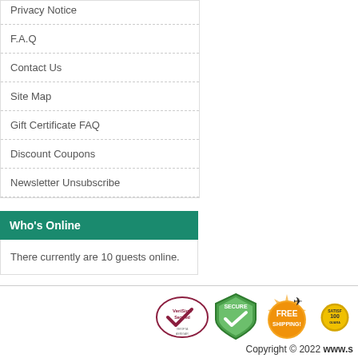Privacy Notice
F.A.Q
Contact Us
Site Map
Gift Certificate FAQ
Discount Coupons
Newsletter Unsubscribe
Who's Online
There currently are 10 guests online.
[Figure (logo): VeriSign Secured badge with checkmark]
[Figure (logo): Secure shield badge with green checkmark]
[Figure (logo): Free Shipping badge in orange with airplane]
[Figure (logo): 100% Satisfaction Guarantee badge partially visible]
Copyright © 2022 www.s...